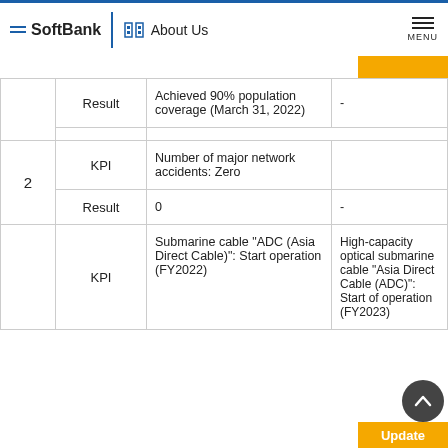SoftBank | About Us | MENU
| # | Type | Content | Details |
| --- | --- | --- | --- |
|  | Result | Achieved 90% population coverage (March 31, 2022) | - |
| 2 | KPI | Number of major network accidents: Zero |  |
| 2 | Result | 0 | - |
|  | KPI | Submarine cable "ADC (Asia Direct Cable)": Start operation (FY2022) | High-capacity optical submarine cable "Asia Direct Cable (ADC)": Start of operation (FY2023) |